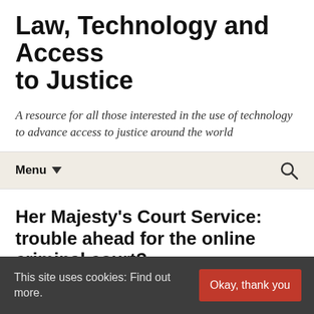Law, Technology and Access to Justice
A resource for all those interested in the use of technology to advance access to justice around the world
Menu
Her Majesty's Court Service: trouble ahead for the online criminal court?
October 24, 2017   Her Majesty's Courts and Tribunals, ODR   Her Majesty's Courts and Tribunals Service   Roger Smith
This site uses cookies: Find out more.